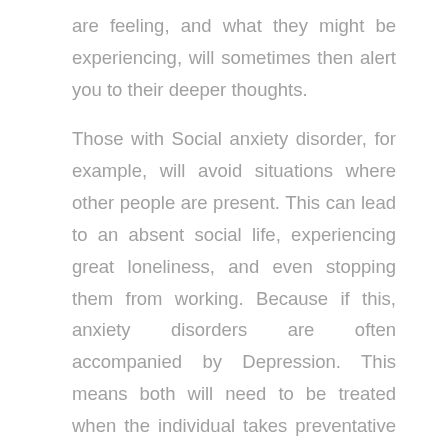are feeling, and what they might be experiencing, will sometimes then alert you to their deeper thoughts.

Those with Social anxiety disorder, for example, will avoid situations where other people are present. This can lead to an absent social life, experiencing great loneliness, and even stopping them from working. Because if this, anxiety disorders are often accompanied by Depression. This means both will need to be treated when the individual takes preventative steps to recovery (our detailed breakdown of Depression can be found here).